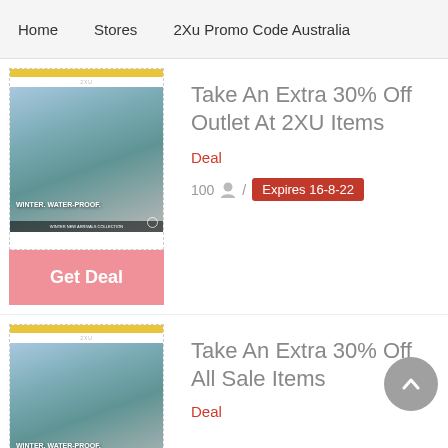Home   Stores   2Xu Promo Code Australia
[Figure (screenshot): Thumbnail of 2XU website with a yellow top bar and two people in athletic wear (blue and teal jackets)]
Take An Extra 30% Off Outlet At 2XU Items
Deal
100  /  Expires 16-8-22
Get Deal
[Figure (screenshot): Thumbnail of 2XU website with a yellow top bar and two people in athletic wear (blue and teal jackets)]
Take An Extra 30% Off All Sale Items
Deal